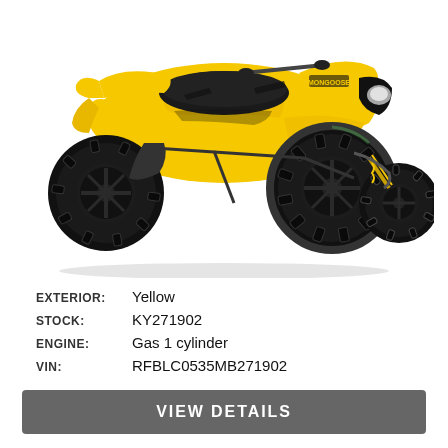[Figure (photo): Yellow Mongoose 70s ATV four-wheeler with black seat and black wheels, viewed from front-left angle on white background.]
EXTERIOR: Yellow
STOCK: KY271902
ENGINE: Gas 1 cylinder
VIN: RFBLC0535MB271902
VIEW DETAILS